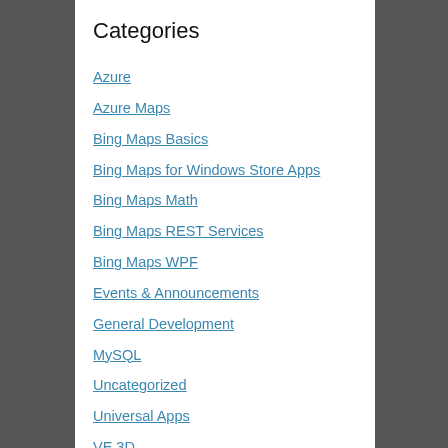Categories
Azure
Azure Maps
Bing Maps Basics
Bing Maps for Windows Store Apps
Bing Maps Math
Bing Maps REST Services
Bing Maps WPF
Events & Announcements
General Development
MySQL
Uncategorized
Universal Apps
VE 3D
VE Silverlight
VE Touch